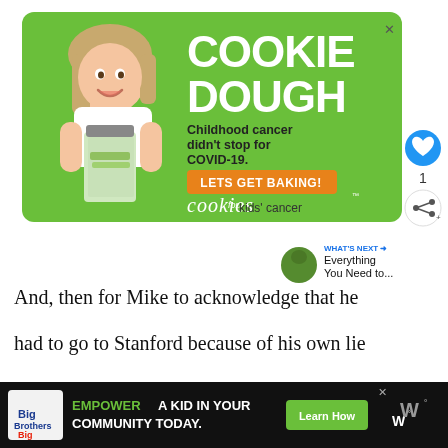[Figure (photo): Advertisement banner for Cookies for Kids' Cancer. Green background with a young girl holding a jar of money. Text reads: COOKIE DOUGH, Childhood cancer didn't stop for COVID-19. LETS GET BAKING! cookies for kids' cancer]
And, then for Mike to acknowledge that he had to go to Stanford because of his own lie wo...
[Figure (screenshot): Bottom advertisement bar: Big Brothers Big Sisters logo, text EMPOWER A KID IN YOUR COMMUNITY TODAY., green button Learn How]